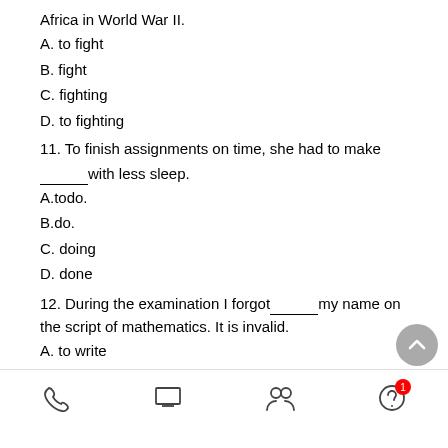Africa in World War II.
A. to fight
B. fight
C. fighting
D. to fighting
11. To finish assignments on time, she had to make_____ with less sleep.
A.todo.
B.do.
C. doing
D. done
12. During the examination I forgot_____ my name on the script of mathematics. It is invalid.
A. to write
B. writing
C. written